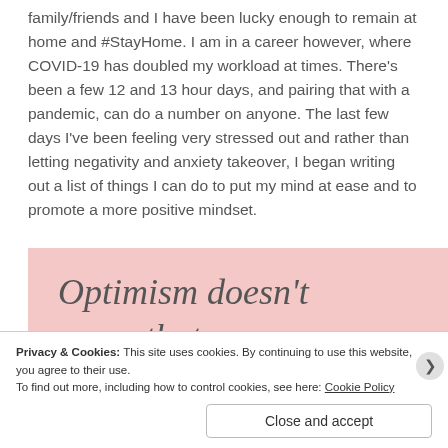family/friends and I have been lucky enough to remain at home and #StayHome. I am in a career however, where COVID-19 has doubled my workload at times. There's been a few 12 and 13 hour days, and pairing that with a pandemic, can do a number on anyone. The last few days I've been feeling very stressed out and rather than letting negativity and anxiety takeover, I began writing out a list of things I can do to put my mind at ease and to promote a more positive mindset.
[Figure (other): Pink background box with italic serif quote text: 'Optimism doesn't mean that you are']
Privacy & Cookies: This site uses cookies. By continuing to use this website, you agree to their use.
To find out more, including how to control cookies, see here: Cookie Policy
Close and accept